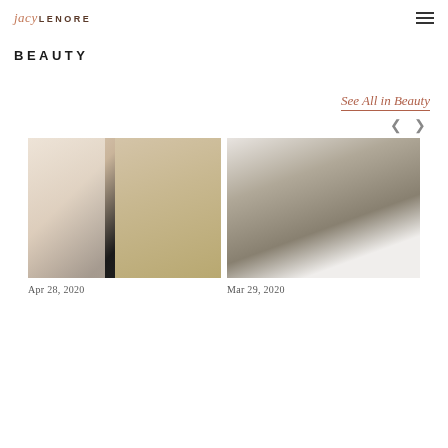jacy LENORE
BEAUTY
See All in Beauty
[Figure (photo): Blonde woman in black top looking down, beauty/hair photo]
Apr 28, 2020
[Figure (photo): Blonde woman wearing a wide-brim navy hat and white top, looking over shoulder]
Mar 29, 2020